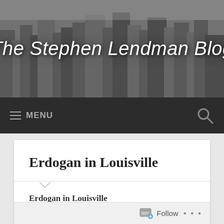The Stephen Lendman Blog
Erdogan in Louisville
Erdogan in Louisville
by Stephen Lendman
On Friday, boxing great, anti-war/civil rights